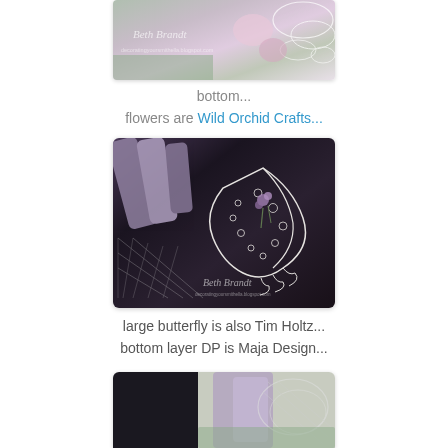[Figure (photo): Close-up photo of floral craft arrangement with lace, pink and purple flowers, and netting on a light background. Watermark reads 'Beth Brandt' with blog URL.]
bottom...
flowers are Wild Orchid Crafts...
[Figure (photo): Close-up photo of a white lace butterfly/feather embellishment with purple ribbons, small purple roses, and white mesh netting on a dark/black background. Watermark reads 'Beth Brandt' with blog URL.]
large butterfly is also Tim Holtz...
bottom layer DP is Maja Design...
[Figure (photo): Partial photo showing black background on left, purple/lavender fabric and white mesh netting on a green base on the right.]